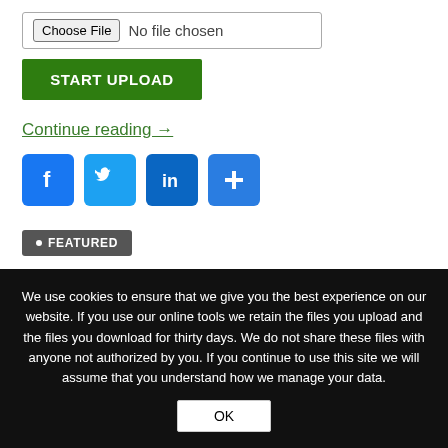[Figure (screenshot): File input row with 'Choose File' button and 'No file chosen' text]
[Figure (screenshot): Green 'START UPLOAD' button]
Continue reading →
[Figure (infographic): Social share icons: Facebook, Twitter, LinkedIn, and a plus/share button]
• FEATURED
We use cookies to ensure that we give you the best experience on our website. If you use our online tools we retain the files you upload and the files you download for thirty days. We do not share these files with anyone not authorized by you. If you continue to use this site we will assume that you understand how we manage your data.
[Figure (screenshot): OK button in cookie banner]